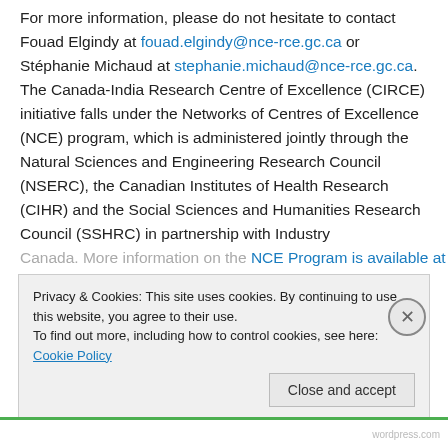For more information, please do not hesitate to contact Fouad Elgindy at fouad.elgindy@nce-rce.gc.ca or Stéphanie Michaud at stephanie.michaud@nce-rce.gc.ca. The Canada-India Research Centre of Excellence (CIRCE) initiative falls under the Networks of Centres of Excellence (NCE) program, which is administered jointly through the Natural Sciences and Engineering Research Council (NSERC), the Canadian Institutes of Health Research (CIHR) and the Social Sciences and Humanities Research Council (SSHRC) in partnership with Industry Canada. More information on the NCE Program is available at...
Privacy & Cookies: This site uses cookies. By continuing to use this website, you agree to their use. To find out more, including how to control cookies, see here: Cookie Policy